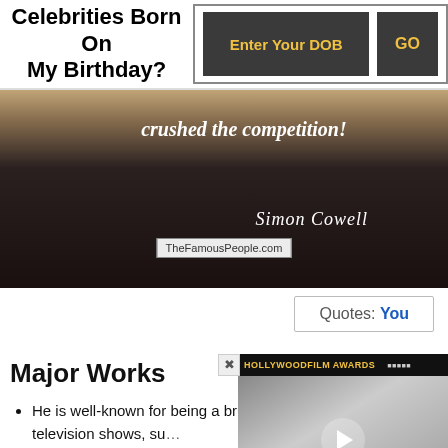Celebrities Born On My Birthday?
[Figure (photo): Dark background with italic bold quote text 'crushed the competition!' followed by cursive signature 'Simon Cowell' and watermark 'TheFamousPeople.com']
Quotes: You
Major Works
He is well-known for being a brutally honest judge in reality television shows, such as American Idol, and The X Factor. Dur... comments on the participan... abilities in an insulting and
[Figure (photo): Video thumbnail overlay showing a woman at Hollywood Film Awards event with a play button overlay. Shows DC and IFA logos at bottom.]